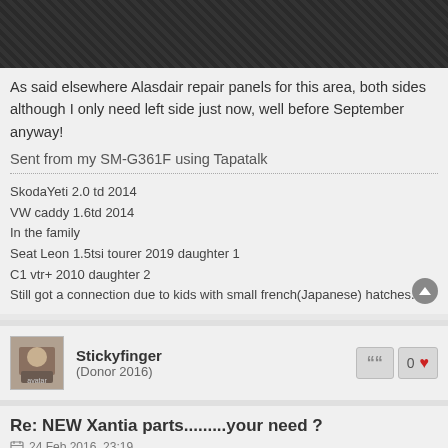[Figure (photo): Dark textured surface photo (partial, top of page)]
As said elsewhere Alasdair repair panels for this area, both sides although I only need left side just now, well before September anyway!
Sent from my SM-G361F using Tapatalk
SkodaYeti 2.0 td 2014
VW caddy 1.6td 2014
In the family
Seat Leon 1.5tsi tourer 2019 daughter 1
C1 vtr+ 2010 daughter 2
Still got a connection due to kids with small french(Japanese) hatches.
Stickyfinger
(Donor 2016)
Re: NEW Xantia parts.........your need ?
24 Feb 2016, 23:19